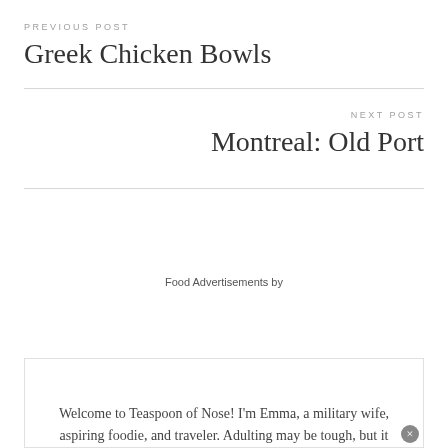PREVIOUS POST
Greek Chicken Bowls
NEXT POST
Montreal: Old Port
Food Advertisements by
Welcome to Teaspoon of Nose! I'm Emma, a military wife, aspiring foodie, and traveler. Adulting may be tough, but it doesn't have to be boring! I share travel advice for when you go, and delicious recipes for when